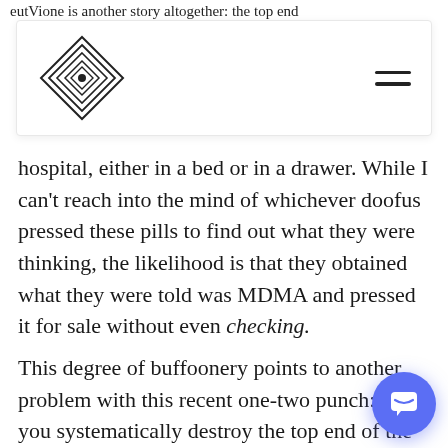eutVione is another story altogether: the top end
[Figure (logo): Diamond-shaped logo with concentric diamond outlines and a dot in the center, alongside a hamburger menu icon (two horizontal lines) on the right]
hospital, either in a bed or in a drawer. While I can't reach into the mind of whichever doofus pressed these pills to find out what they were thinking, the likelihood is that they obtained what they were told was MDMA and pressed it for sale without even checking.
This degree of buffoonery points to another problem with this recent one-two punch: when you systematically destroy the top end of the market by targeting industrial supply lines and encrypted communications, what's left? The suppliers who were too foolish or small-fry to bother with, for the most part. Now buyers are